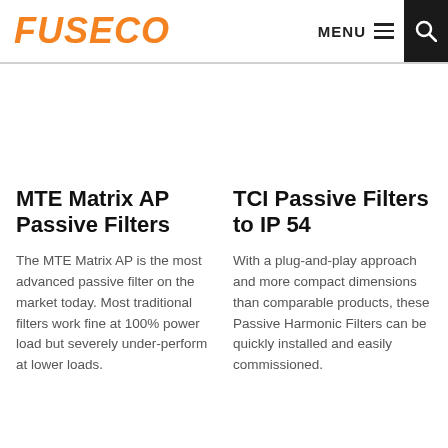FUSECO | MENU [hamburger] [search]
MTE Matrix AP Passive Filters
The MTE Matrix AP is the most advanced passive filter on the market today. Most traditional filters work fine at 100% power load but severely under-perform at lower loads.
TCI Passive Filters to IP 54
With a plug-and-play approach and more compact dimensions than comparable products, these Passive Harmonic Filters can be quickly installed and easily commissioned.